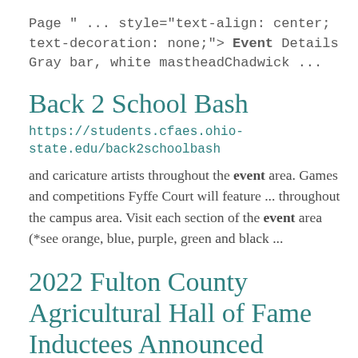Page " ... style="text-align: center; text-decoration: none;"> Event Details Gray bar, white mastheadChadwick ...
Back 2 School Bash
https://students.cfaes.ohio-state.edu/back2schoolbash
and caricature artists throughout the event area. Games and competitions Fyffe Court will feature ... throughout the campus area. Visit each section of the event area (*see orange, blue, purple, green and black ...
2022 Fulton County Agricultural Hall of Fame Inductees Announced